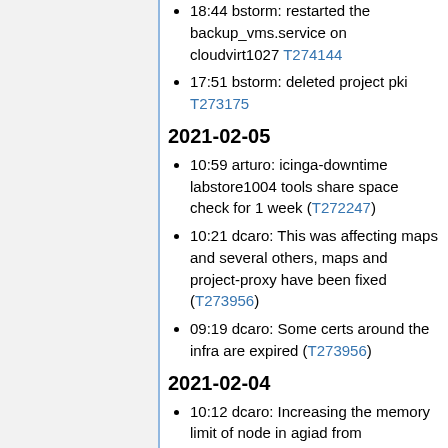18:44 bstorm: restarted the backup_vms.service on cloudvirt1027 T274144
17:51 bstorm: deleted project pki T273175
2021-02-05
10:59 arturo: icinga-downtime labstore1004 tools share space check for 1 week (T272247)
10:21 dcaro: This was affecting maps and several others, maps and project-proxy have been fixed (T273956)
09:19 dcaro: Some certs around the infra are expired (T273956)
2021-02-04
10:12 dcaro: Increasing the memory limit of node in agiad from…